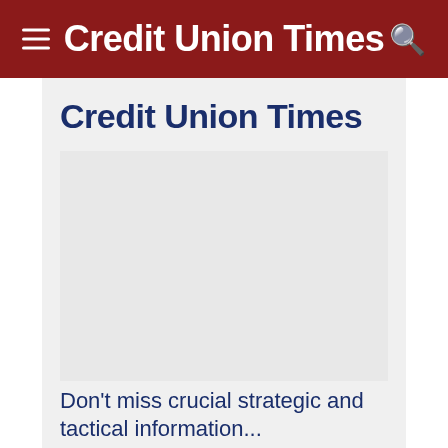Credit Union Times
Credit Union Times
[Figure (other): Advertisement or image placeholder area]
Don't miss crucial strategic and tactical information...